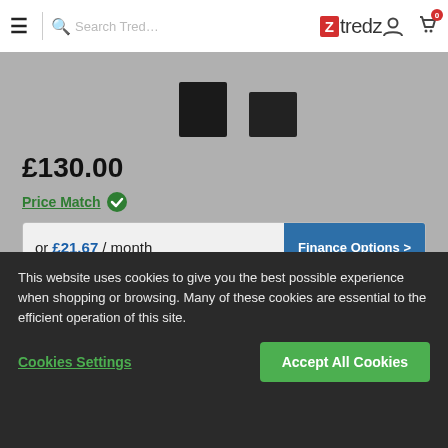Tredz website header with menu, search, logo, user and cart icons
[Figure (photo): Partial product image on grey background]
£130.00
Price Match
or £21.67 / month  Finance Options >
Select a size
What is my size?
XS
S
XXXL
This website uses cookies to give you the best possible experience when shopping or browsing. Many of these cookies are essential to the efficient operation of this site.
Cookies Settings
Accept All Cookies